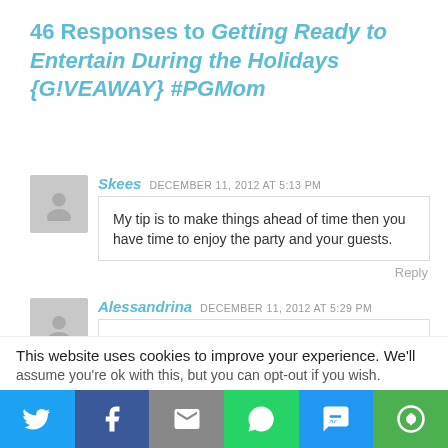46 Responses to Getting Ready to Entertain During the Holidays {G!VEAWAY} #PGMom
Skees  DECEMBER 11, 2012 AT 5:13 PM
My tip is to make things ahead of time then you have time to enjoy the party and your guests.
Reply
Alessandrina  DECEMBER 11, 2012 AT 5:29 PM
Make sure there is a large variety of beverages on hand for the guests to help themselves. Cheers.
Rafflecenter name: Dreena
This website uses cookies to improve your experience. We'll assume you're ok with this, but you can opt-out if you wish.